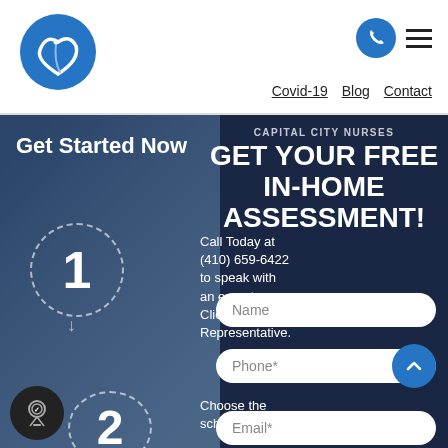[Figure (logo): Blue circular logo with stylized heart and swoosh line — medical/home care brand logo]
[Figure (other): Blue phone icon button (circle) and hamburger menu icon in top-right header]
Covid-19  Blog  Contact
[Figure (photo): Background nurse/caregiver photo with blue tint overlay on left side]
Get Started Now
CAPITAL CITY NURSES
GET YOUR FREE IN-HOME ASSESSMENT!
Call Today at (410) 659-6422 to speak with an expert Client Services Representative. Choose the scheduled...
Name
Phone*
Email*
[Figure (other): Step 1 dashed circle with number 1 and downward arrow]
[Figure (other): Step 2 dashed circle with number 2]
[Figure (other): Award/badge circular icon at bottom left]
[Figure (other): Blue upward arrow circular button at bottom right]